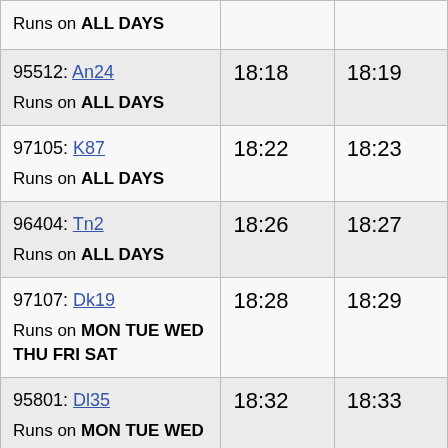| Trip | Stop 1 | Stop 2 |
| --- | --- | --- |
| Runs on ALL DAYS (partial top row) |  |  |
| 95512: An24
Runs on ALL DAYS | 18:18 | 18:19 |
| 97105: K87
Runs on ALL DAYS | 18:22 | 18:23 |
| 96404: Tn2
Runs on ALL DAYS | 18:26 | 18:27 |
| 97107: Dk19
Runs on MON TUE WED THU FRI SAT | 18:28 | 18:29 |
| 95801: Dl35
Runs on MON TUE WED | 18:32 | 18:33 |